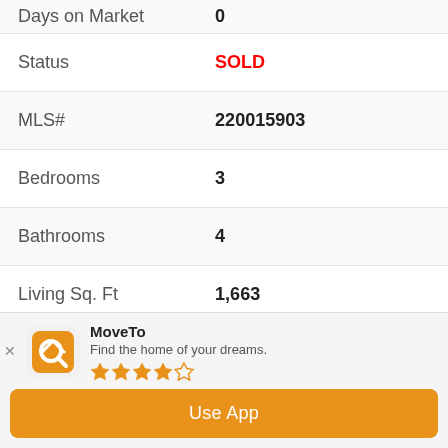| Field | Value |
| --- | --- |
| Days on Market | 0 |
| Status | SOLD |
| MLS# | 220015903 |
| Bedrooms | 3 |
| Bathrooms | 4 |
| Living Sq. Ft | 1,663 |
| Lot Size(Range) | 7,500-10,889 SF |
| Lot Size(apprx.) | 10,357 |
MoveTo - Find the home of your dreams. Rating: 4 stars. Use App